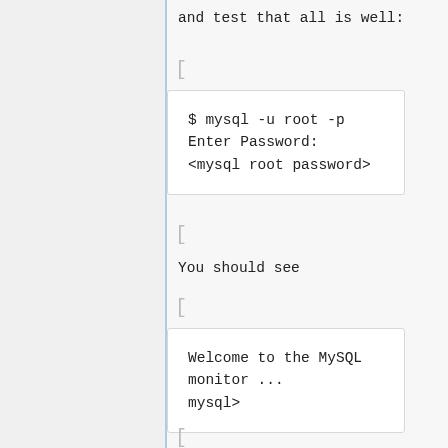and test that all is well:
[
$ mysql -u root -p
Enter Password:
<mysql root password>
[
You should see
[
Welcome to the MySQL monitor ...
mysql>
[